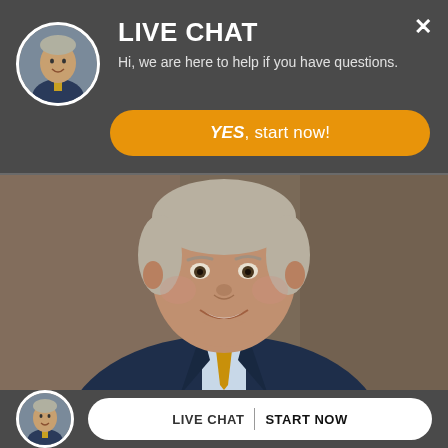LIVE CHAT
Hi, we are here to help if you have questions.
[Figure (screenshot): Orange rounded button with text 'YES, start now!']
[Figure (photo): Professional headshot of a middle-aged man in a dark navy suit with a gold/orange tie and light blue shirt, smiling, with a blurred brown background]
LIVE CHAT  |  START NOW